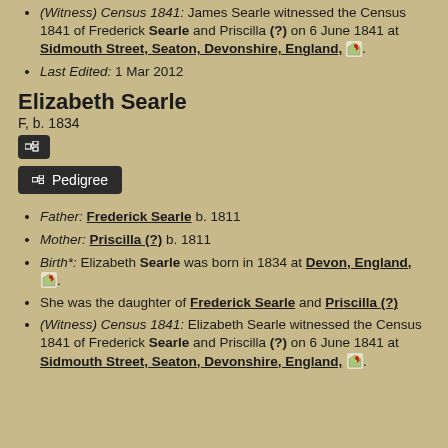(Witness) Census 1841: James Searle witnessed the Census 1841 of Frederick Searle and Priscilla (?) on 6 June 1841 at Sidmouth Street, Seaton, Devonshire, England,.
Last Edited: 1 Mar 2012
Elizabeth Searle
F, b. 1834
Father: Frederick Searle b. 1811
Mother: Priscilla (?) b. 1811
Birth*: Elizabeth Searle was born in 1834 at Devon, England,.
She was the daughter of Frederick Searle and Priscilla (?)
(Witness) Census 1841: Elizabeth Searle witnessed the Census 1841 of Frederick Searle and Priscilla (?) on 6 June 1841 at Sidmouth Street, Seaton, Devonshire, England,.